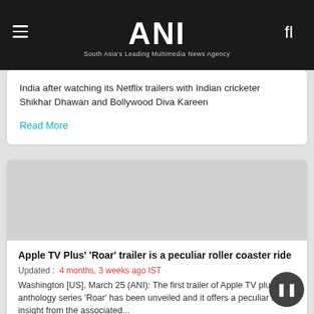ANI - South Asia's Leading Multimedia News Agency
India after watching its Netflix trailers with Indian cricketer Shikhar Dhawan and Bollywood Diva Kareen
Read More
Apple TV Plus' 'Roar' trailer is a peculiar roller coaster ride
Updated : 4 months, 3 weeks ago IST
Washington [US], March 25 (ANI): The first trailer of Apple TV plus' anthology series 'Roar' has been unveiled and it offers a peculiar sort of insight from the associated...